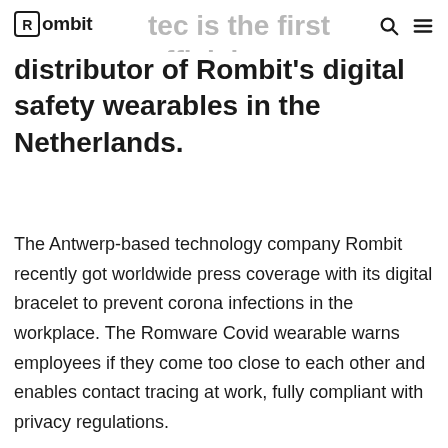Rombit
...tec is the first official distributor of Rombit's digital safety wearables in the Netherlands.
The Antwerp-based technology company Rombit recently got worldwide press coverage with its digital bracelet to prevent corona infections in the workplace. The Romware Covid wearable warns employees if they come too close to each other and enables contact tracing at work, fully compliant with privacy regulations.